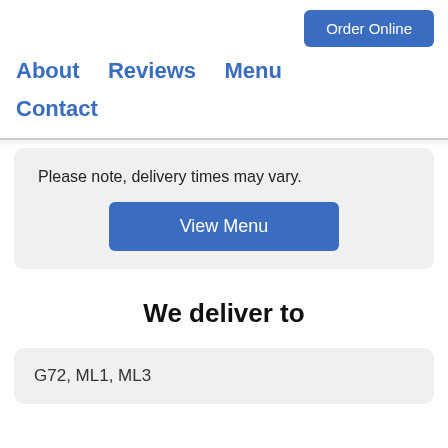Order Online
About   Reviews   Menu   Contact
Please note, delivery times may vary.
View Menu
We deliver to
G72, ML1, ML3